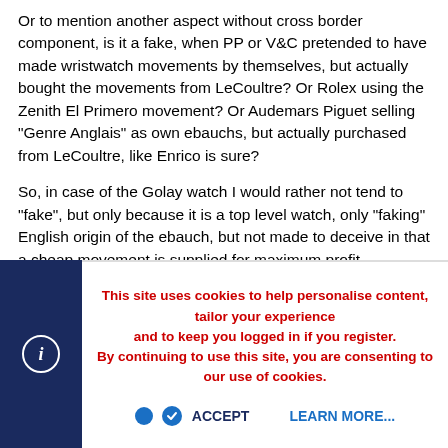Or to mention another aspect without cross border component, is it a fake, when PP or V&C pretended to have made wristwatch movements by themselves, but actually bought the movements from LeCoultre? Or Rolex using the Zenith El Primero movement? Or Audemars Piguet selling "Genre Anglais" as own ebauchs, but actually purchased from LeCoultre, like Enrico is sure?
So, in case of the Golay watch I would rather not tend to "fake", but only because it is a top level watch, only "faking" English origin of the ebauch, but not made to deceive in that a cheap movement is supplied for maximum profit.
Perhaps the concept of fake or counterfeiting should be limited to when inferior quality is supposed to pretend a top product. It would be a different matter to follow a "fashion" in the target
This site uses cookies to help personalise content, tailor your experience and to keep you logged in if you register.
By continuing to use this site, you are consenting to our use of cookies.
ACCEPT
LEARN MORE...